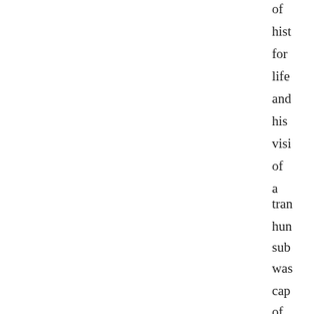of hist for life and his visi of a tran hun sub was cap of both rad den and rea vio imp Unl Mi